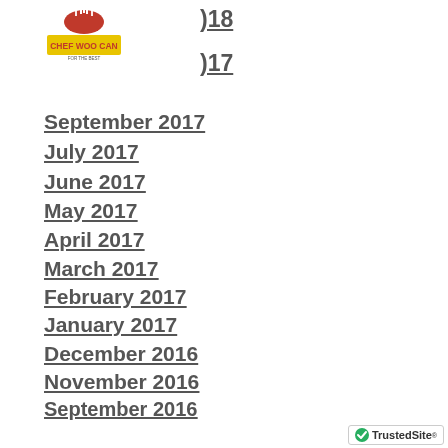[Figure (logo): Chef Woo Can logo with chef hat icon and yellow banner]
…018
…017
September 2017
July 2017
June 2017
May 2017
April 2017
March 2017
February 2017
January 2017
December 2016
November 2016
September 2016
August 2016
July 2016
June 2016
May 2016
April 2016
[Figure (other): Blue Book Now button with fork and knife icon]
[Figure (logo): TrustedSite badge with green checkmark]